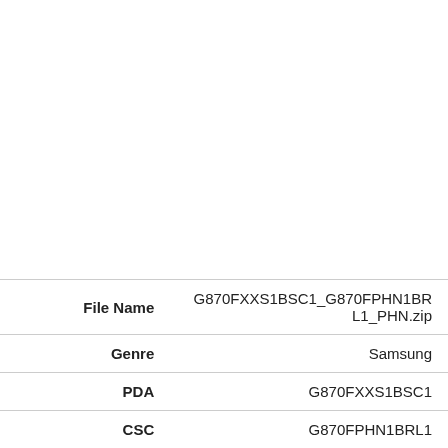| Field | Value |
| --- | --- |
| File Name | G870FXXS1BSC1_G870FPHN1BRL1_PHN.zip |
| Genre | Samsung |
| PDA | G870FXXS1BSC1 |
| CSC | G870FPHN1BRL1 |